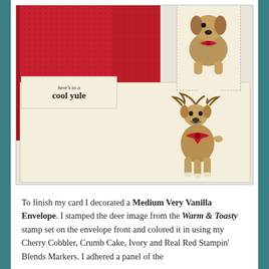[Figure (photo): Photograph of a handmade Christmas card with a red background featuring a dog with a red bow, a banner saying 'here's to a cool yule', and a cream-colored envelope decorated with a reindeer stamp also wearing a red bow.]
To finish my card I decorated a Medium Very Vanilla Envelope. I stamped the deer image from the Warm & Toasty stamp set on the envelope front and colored it in using my Cherry Cobbler, Crumb Cake, Ivory and Real Red Stampin' Blends Markers. I adhered a panel of the